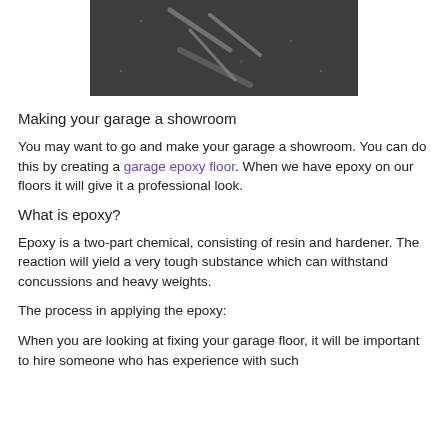[Figure (photo): Close-up photo of a dark textured surface (likely a garage floor or asphalt) with light-colored markings or scratches visible.]
Making your garage a showroom
You may want to go and make your garage a showroom. You can do this by creating a garage epoxy floor. When we have epoxy on our floors it will give it a professional look.
What is epoxy?
Epoxy is a two-part chemical, consisting of resin and hardener. The reaction will yield a very tough substance which can withstand concussions and heavy weights.
The process in applying the epoxy:
When you are looking at fixing your garage floor, it will be important to hire someone who has experience with such